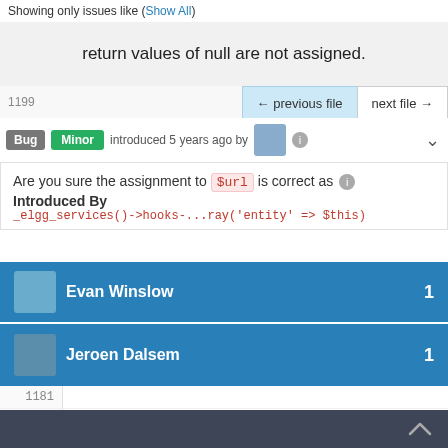Showing only issues like (Show All)
return values of null are not assigned.
← previous file   next file →
Bug   Minor   introduced 5 years ago by
Are you sure the assignment to $url is correct as
Introduced By
_elgg_services()->hooks-...ray('entity' => $this)
Evan Winslow   1
Jeroen Dalsem   1
1181
1182    if ($url === null || $url === ''
1183    return '';
2101